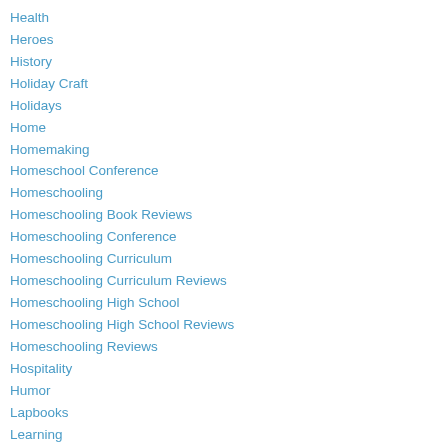Health
Heroes
History
Holiday Craft
Holidays
Home
Homemaking
Homeschool Conference
Homeschooling
Homeschooling Book Reviews
Homeschooling Conference
Homeschooling Curriculum
Homeschooling Curriculum Reviews
Homeschooling High School
Homeschooling High School Reviews
Homeschooling Reviews
Hospitality
Humor
Lapbooks
Learning